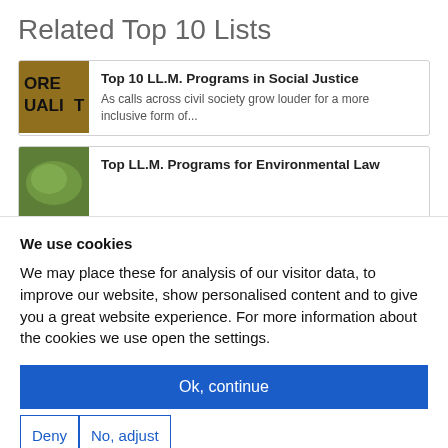Related Top 10 Lists
Top 10 LL.M. Programs in Social Justice – As calls across civil society grow louder for a more inclusive form of...
Top LL.M. Programs for Environmental Law
We use cookies
We may place these for analysis of our visitor data, to improve our website, show personalised content and to give you a great website experience. For more information about the cookies we use open the settings.
Ok, continue
Deny
No, adjust